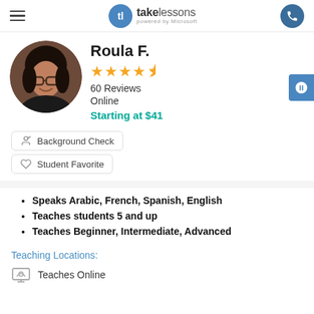takelessons powered by Microsoft
Roula F.
60 Reviews
Online
Starting at $41
Background Check
Student Favorite
Speaks Arabic, French, Spanish, English
Teaches students 5 and up
Teaches Beginner, Intermediate, Advanced
Teaching Locations:
Teaches Online